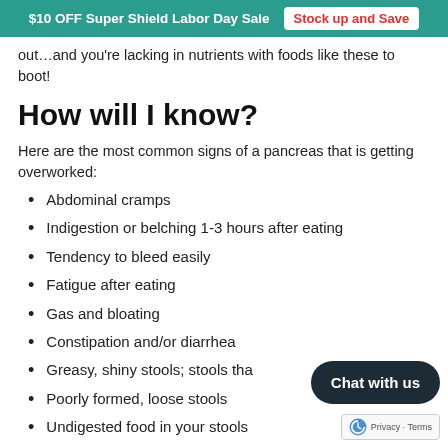$10 OFF Super Shield Labor Day Sale  Stock up and Save
out…and you're lacking in nutrients with foods like these to boot!
How will I know?
Here are the most common signs of a pancreas that is getting overworked:
Abdominal cramps
Indigestion or belching 1-3 hours after eating
Tendency to bleed easily
Fatigue after eating
Gas and bloating
Constipation and/or diarrhea
Greasy, shiny stools; stools tha…
Poorly formed, loose stools
Undigested food in your stools